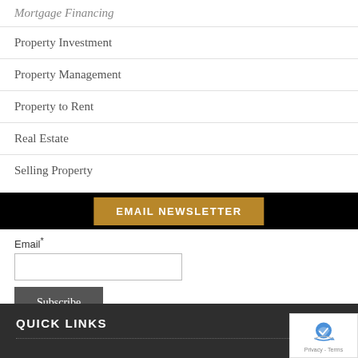Mortgage Financing
Property Investment
Property Management
Property to Rent
Real Estate
Selling Property
EMAIL NEWSLETTER
Email*
Subscribe
QUICK LINKS